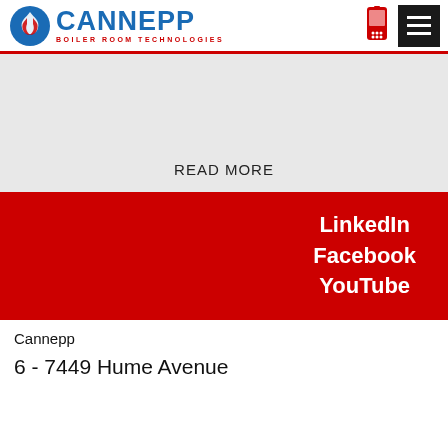[Figure (logo): Cannepp Boiler Room Technologies logo with flame icon in blue and red]
READ MORE
LinkedIn
Facebook
YouTube
Cannepp
6 - 7449 Hume Avenue